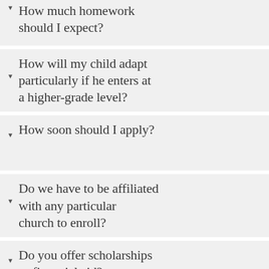How much homework should I expect?
How will my child adapt particularly if he enters at a higher-grade level?
How soon should I apply?
Do we have to be affiliated with any particular church to enroll?
Do you offer scholarships or financial aid?